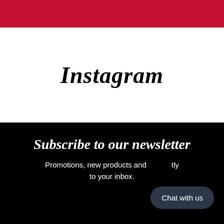[Figure (other): Red banner/header bar at top of page]
Instagram
Subscribe to our newsletter
Promotions, new products and sales. Directly to your inbox.
[Figure (other): Chat with us button/bubble overlay]
Email address